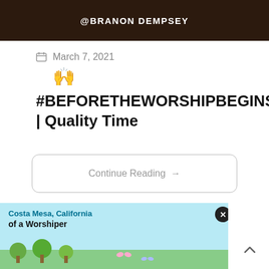[Figure (photo): Dark brown background banner image with text '@BRANON DEMPSEY' in white bold letters]
March 7, 2021
🙌
#BEFORETHEWORSHIPBEGINS | Quality Time
Continue Reading →
Costa Mesa, California
of a Worshiper